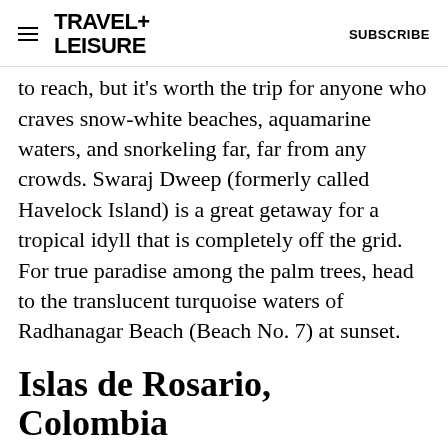TRAVEL+ LEISURE  SUBSCRIBE
to reach, but it’s worth the trip for anyone who craves snow-white beaches, aquamarine waters, and snorkeling far, far from any crowds. Swaraj Dweep (formerly called Havelock Island) is a great getaway for a tropical idyll that is completely off the grid. For true paradise among the palm trees, head to the translucent turquoise waters of Radhanagar Beach (Beach No. 7) at sunset.
Islas de Rosario, Colombia
Ad
[Figure (other): Dotdash Meredith advertisement banner: 'We help people find answers, solve problems and get inspired.' with Dotdash Meredith logo]